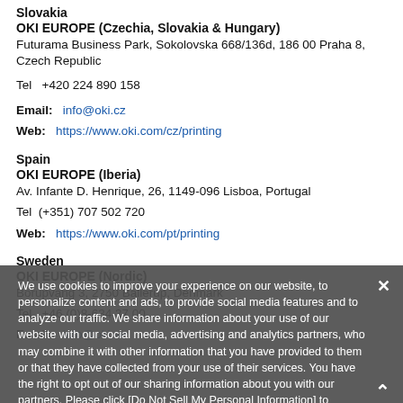Slovakia
OKI EUROPE (Czechia, Slovakia & Hungary)
Futurama Business Park, Sokolovska 668/136d, 186 00 Praha 8, Czech Republic
Tel  +420 224 890 158
Email:  info@oki.cz
Web:  https://www.oki.com/cz/printing
Spain
OKI EUROPE (Iberia)
Av. Infante D. Henrique, 26, 1149-096 Lisboa, Portugal
Tel  (+351) 707 502 720
Web:  https://www.oki.com/pt/printing
Sweden
OKI EUROPE (Nordic)
Borupvang 3, 2750 Ballerup, Denmark
Tel  +46 (0)8-634 37 00
Email:  info@oki.se
We use cookies to improve your experience on our website, to personalize content and ads, to provide social media features and to analyze our traffic. We share information about your use of our website with our social media, advertising and analytics partners, who may combine it with other information that you have provided to them or that they have collected from your use of their services. You have the right to opt out of our sharing information about you with our partners. Please click [Do Not Sell My Personal Information] to customize your cookie settings on our website. Privacy Policy